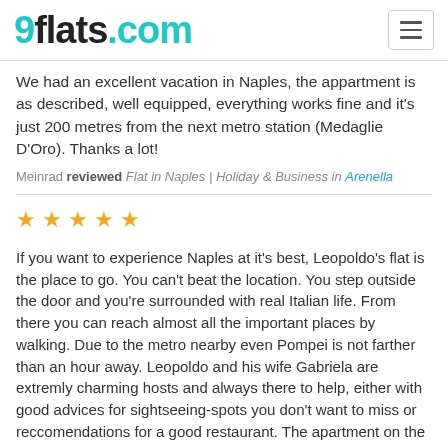9flats.com
We had an excellent vacation in Naples, the appartment is as described, well equipped, everything works fine and it's just 200 metres from the next metro station (Medaglie D'Oro). Thanks a lot!
Meinrad reviewed Flat in Naples | Holiday & Business in Arenella
[Figure (other): 5 orange star rating icons]
If you want to experience Naples at it's best, Leopoldo's flat is the place to go. You can't beat the location. You step outside the door and you're surrounded with real Italian life. From there you can reach almost all the important places by walking. Due to the metro nearby even Pompei is not farther than an hour away. Leopoldo and his wife Gabriela are extremly charming hosts and always there to help, either with good advices for sightseeing-spots you don't want to miss or reccomendations for a good restaurant. The apartment on the 5th floor is very quiet although it is located in a very vibrant neighborhood.